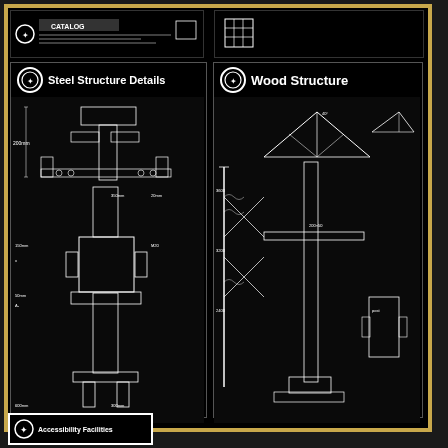[Figure (engineering-diagram): Top-left engineering diagram panel with white line drawings on black background, appears to show a structural detail]
[Figure (engineering-diagram): Top-right engineering diagram panel with white line drawings on black background, showing a grid/matrix pattern]
[Figure (engineering-diagram): Steel Structure Details panel - white on black CAD drawings showing steel column and beam connection details with dimensions and annotations]
[Figure (engineering-diagram): Wood Structure panel - white on black CAD drawings showing wood framing details including roof trusses, posts and connections with annotations]
[Figure (engineering-diagram): Partially visible bottom tag labeled Accessibility Facilities with Vitruvian man icon]